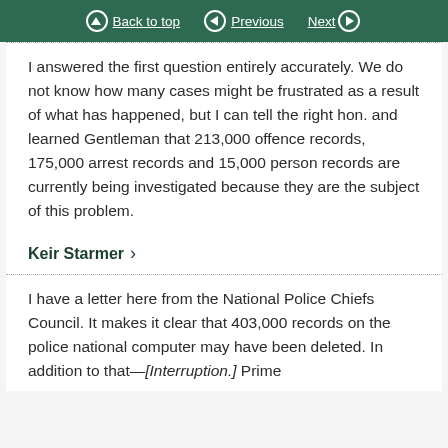Back to top  Previous  Next
I answered the first question entirely accurately. We do not know how many cases might be frustrated as a result of what has happened, but I can tell the right hon. and learned Gentleman that 213,000 offence records, 175,000 arrest records and 15,000 person records are currently being investigated because they are the subject of this problem.
Keir Starmer ›
I have a letter here from the National Police Chiefs Council. It makes it clear that 403,000 records on the police national computer may have been deleted. In addition to that—[Interruption.] Prime